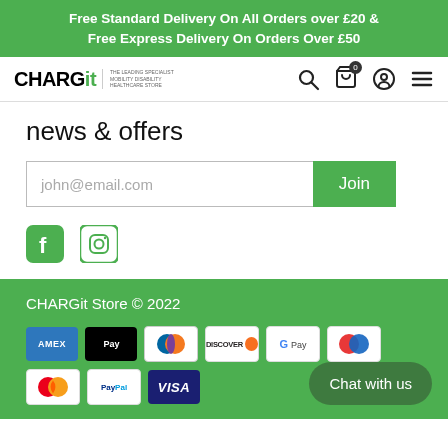Free Standard Delivery On All Orders over £20 & Free Express Delivery On Orders Over £50
[Figure (logo): CHARGit logo with tagline and navigation icons (search, cart, account, menu)]
news & offers
Email signup form with placeholder 'john@email.com' and Join button
[Figure (infographic): Facebook and Instagram social media icons in green]
CHARGit Store © 2022
[Figure (infographic): Payment method badges: American Express, Apple Pay, Diners Club, Discover, Google Pay, Maestro, Mastercard, PayPal, Visa]
Chat with us